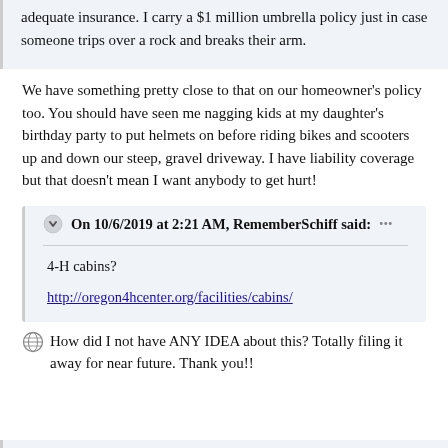adequate insurance. I carry a $1 million umbrella policy just in case someone trips over a rock and breaks their arm.
We have something pretty close to that on our homeowner's policy too. You should have seen me nagging kids at my daughter's birthday party to put helmets on before riding bikes and scooters up and down our steep, gravel driveway. I have liability coverage but that doesn't mean I want anybody to get hurt!
On 10/6/2019 at 2:21 AM, RememberSchiff said:
4-H cabins?

http://oregon4hcenter.org/facilities/cabins/
How did I not have ANY IDEA about this? Totally filing it away for near future. Thank you!!